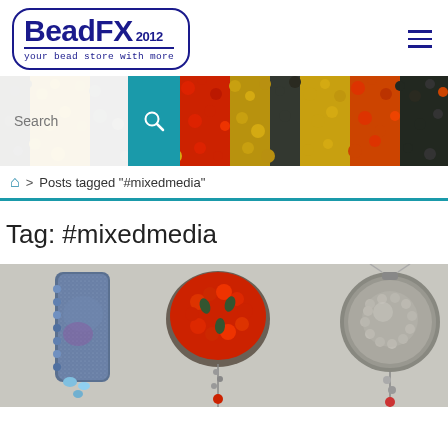[Figure (logo): BeadFX 2012 logo — your bead store with more — inside rounded rectangle border]
[Figure (photo): Banner photo of colorful seed beads in various colors with search bar overlay on left side]
Posts tagged "#mixedmedia"
Tag: #mixedmedia
[Figure (photo): Photo of mixed media bead jewelry pieces — three pendants showing beaded and embroidered designs in blue, red and grey tones]